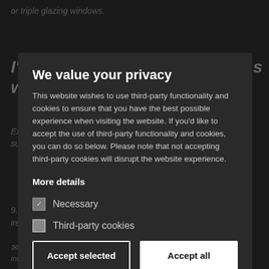or triple glazing windows.
We value your privacy
This website wishes to use third-party functionality and cookies to ensure that you have the best possible experience when visiting the website. If you'd like to accept the use of third-party functionality and cookies, you can do so below. Please note that not accepting third-party cookies will disrupt the website experience.
More details
Necessary
Third-party cookies
Accept selected
Accept all